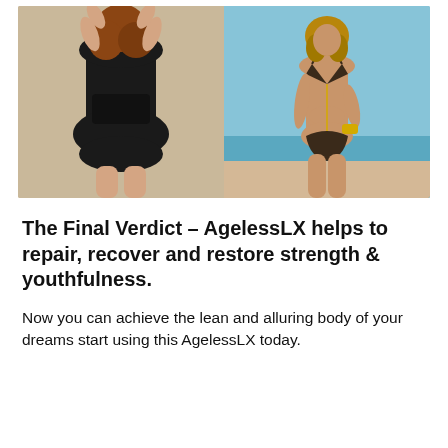[Figure (photo): Before and after comparison photo: left side shows a woman in a black one-piece swimsuit from behind with a fuller figure against a beige background; right side shows a slimmer woman in a gold/black bikini facing forward at the beach.]
The Final Verdict – AgelessLX helps to repair, recover and restore strength & youthfulness.
Now you can achieve the lean and alluring body of your dreams start using this AgelessLX today.